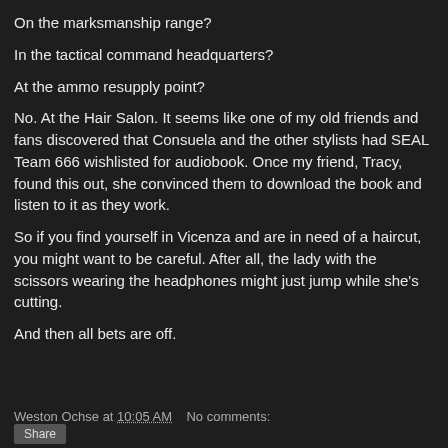On the marksmanship range?
In the tactical command headquarters?
At the ammo resupply point?
No. At the Hair Salon. It seems like one of my old friends and fans discovered that Consuela and the other stylists had SEAL Team 666 wishlisted for audiobook. Once my friend, Tracy, found this out, she convinced them to download the book and listen to it as they work.
So if you find yourself in Vicenza and are in need of a haircut, you might want to be careful. After all, the lady with the scissors wearing the headphones might just jump while she's cutting.
And then all bets are off.
Weston Ochse at 10:05 AM   No comments: